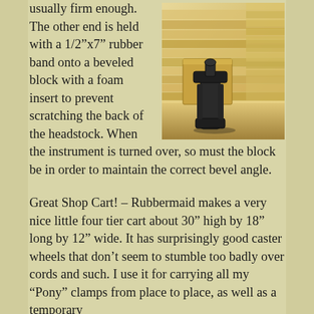[Figure (photo): A black clamp holding wooden pieces on a workbench, with stacked wood pieces visible in the background.]
usually firm enough. The other end is held with a 1/2"x7" rubber band onto a beveled block with a foam insert to prevent scratching the back of the headstock. When the instrument is turned over, so must the block be in order to maintain the correct bevel angle.
Great Shop Cart! – Rubbermaid makes a very nice little four tier cart about 30" high by 18" long by 12" wide. It has surprisingly good caster wheels that don’t seem to stumble too badly over cords and such. I use it for carrying all my “Pony” clamps from place to place, as well as a temporary workhorse for awhile. I have the clamps draped...